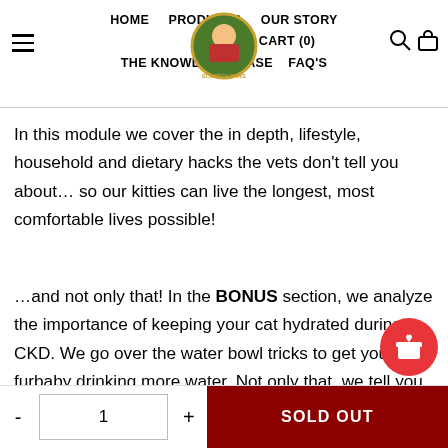HOME  PRODUCTS  OUR STORY  LOG IN  CART (0)  THE KNOWLEDGEBASE  FAQ'S
In this module we cover the in depth, lifestyle, household and dietary hacks the vets don't tell you about… so our kitties can live the longest, most comfortable lives possible!
…and not only that! In the BONUS section, we analyze the importance of keeping your cat hydrated during CKD. We go over the water bowl tricks to get your furbaby drinking more water. Not only that, we tell you about sub q fluid therapy - when its needed and when its unecessary!